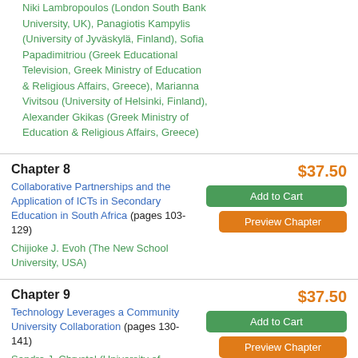Niki Lambropoulos (London South Bank University, UK), Panagiotis Kampylis (University of Jyväskylä, Finland), Sofia Papadimitriou (Greek Educational Television, Greek Ministry of Education & Religious Affairs, Greece), Marianna Vivitsou (University of Helsinki, Finland), Alexander Gkikas (Greek Ministry of Education & Religious Affairs, Greece)
Chapter 8
$37.50
Collaborative Partnerships and the Application of ICTs in Secondary Education in South Africa (pages 103-129)
Add to Cart
Preview Chapter
Chijioke J. Evoh (The New School University, USA)
Chapter 9
$37.50
Technology Leverages a Community University Collaboration (pages 130-141)
Add to Cart
Preview Chapter
Sandra J. Chrystal (University of Southern California, USA)
Chapter 10
$37.50